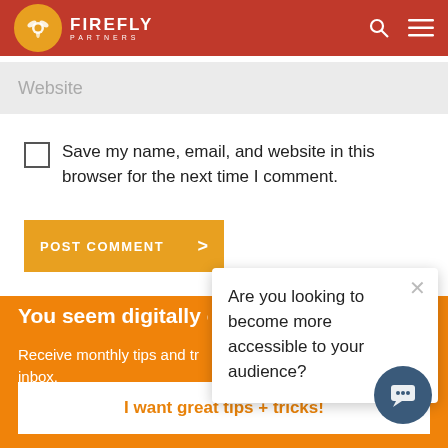Firefly Partners
Website
Save my name, email, and website in this browser for the next time I comment.
POST COMMENT >
You may also like
You seem digitally curi...
Receive monthly tips and tr... inbox.
I want great tips + tricks!
Are you looking to become more accessible to your audience?